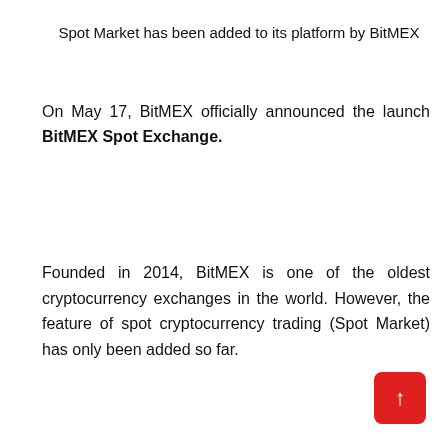Spot Market has been added to its platform by BitMEX
On May 17, BitMEX officially announced the launch BitMEX Spot Exchange.
Founded in 2014, BitMEX is one of the oldest cryptocurrency exchanges in the world. However, the feature of spot cryptocurrency trading (Spot Market) has only been added so far.
[Figure (other): Red back-to-top button with upward arrow]